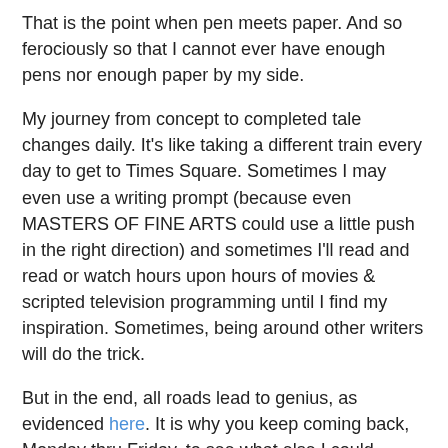That is the point when pen meets paper. And so ferociously so that I cannot ever have enough pens nor enough paper by my side.
My journey from concept to completed tale changes daily. It's like taking a different train every day to get to Times Square. Sometimes I may even use a writing prompt (because even MASTERS OF FINE ARTS could use a little push in the right direction) and sometimes I'll read and read or watch hours upon hours of movies & scripted television programming until I find my inspiration. Sometimes, being around other writers will do the trick.
But in the end, all roads lead to genius, as evidenced here. It is why you keep coming back, Monday thru Friday, to see what else I could possibly have to say. It is why I haven't stormed out of my meager job even though I loathe it. And it is why I cannot give up this dream: you WILL see my books on the shelves and you WILL be lining up to get your copy autographed.
"So it is written, so shall it be done."